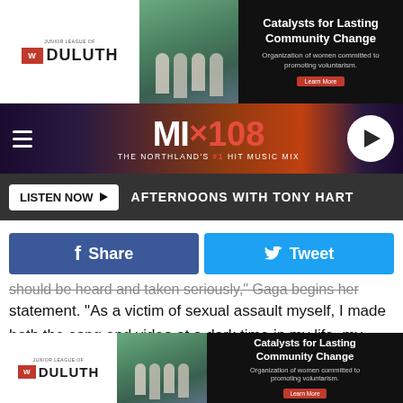[Figure (other): Top advertisement banner for Junior League of Duluth - Catalysts for Lasting Community Change]
[Figure (logo): MIX108 radio station header bar with hamburger menu, logo, and play button]
LISTEN NOW ▶  AFTERNOONS WITH TONY HART
[Figure (other): Facebook Share and Twitter Tweet social media buttons]
should be heard and taken seriously," Gaga begins her statement. "As a victim of sexual assault myself, I made both the song and video at a dark time in my life, my intention was to create something extremely defiant and provocative because I was angry and still hadn't processed the trauma hat had occurred in my own life."
"I think it's clear how explicitly twisted my thinking was at the
[Figure (other): Bottom advertisement banner for Junior League of Duluth - Catalysts for Lasting Community Change]